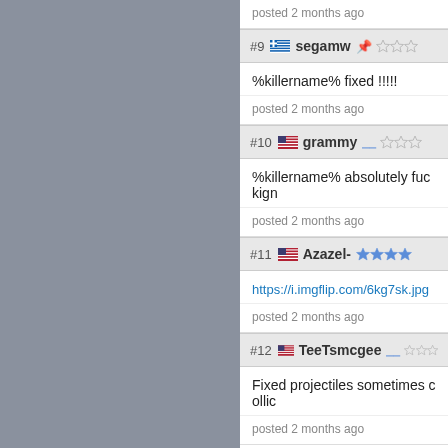posted 2 months ago
#9 segamw
%killername% fixed !!!!!
posted 2 months ago
#10 grammy
%killername% absolutely fuckign
posted 2 months ago
#11 Azazel-
https://i.imgflip.com/6kg7sk.jpg
posted 2 months ago
#12 TeeTsmcgee
Fixed projectiles sometimes collic
posted 2 months ago